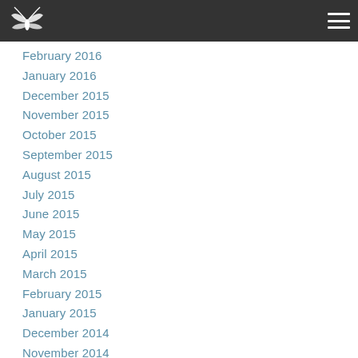Navigation header with logo and hamburger menu
February 2016
January 2016
December 2015
November 2015
October 2015
September 2015
August 2015
July 2015
June 2015
May 2015
April 2015
March 2015
February 2015
January 2015
December 2014
November 2014
October 2014